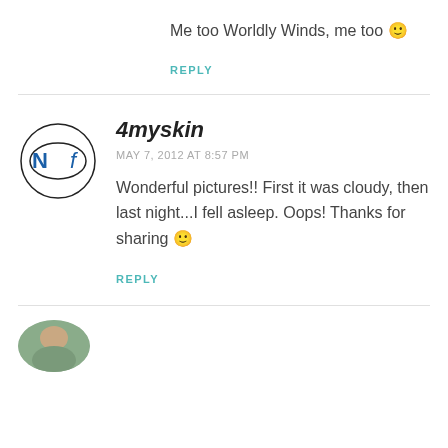Me too Worldly Winds, me too 🙂
REPLY
4myskin
MAY 7, 2012 AT 8:57 PM
Wonderful pictures!! First it was cloudy, then last night...I fell asleep. Oops! Thanks for sharing 🙂
REPLY